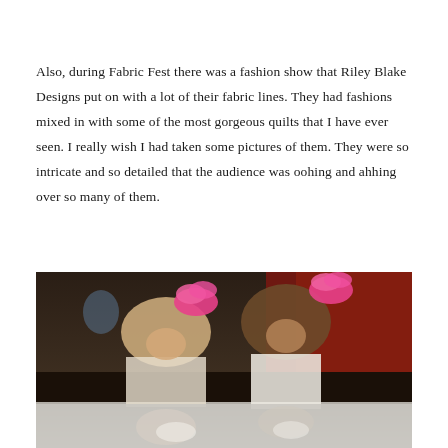Also, during Fabric Fest there was a fashion show that Riley Blake Designs put on with a lot of their fabric lines. They had fashions mixed in with some of the most gorgeous quilts that I have ever seen. I really wish I had taken some pictures of them. They were so intricate and so detailed that the audience was oohing and ahhing over so many of them.
[Figure (photo): Two young girls wearing pink feathery hair accessories, hugging or leaning together. Dark/red background suggesting a stage or event venue. Photo appears to have a reflection or lighter faded version at the bottom.]